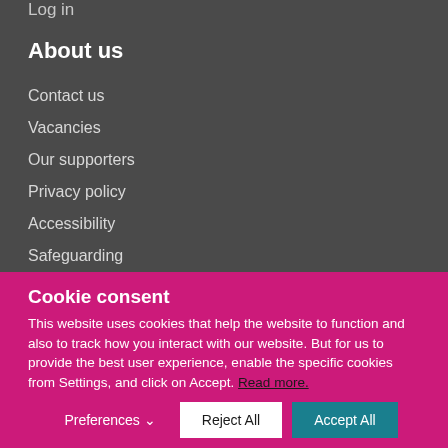Log in
About us
Contact us
Vacancies
Our supporters
Privacy policy
Accessibility
Safeguarding
Cookie consent
This website uses cookies that help the website to function and also to track how you interact with our website. But for us to provide the best user experience, enable the specific cookies from Settings, and click on Accept. Read more.